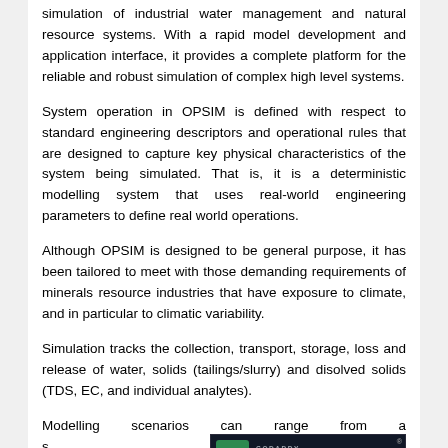simulation of industrial water management and natural resource systems. With a rapid model development and application interface, it provides a complete platform for the reliable and robust simulation of complex high level systems.
System operation in OPSIM is defined with respect to standard engineering descriptors and operational rules that are designed to capture key physical characteristics of the system being simulated. That is, it is a deterministic modelling system that uses real-world engineering parameters to define real world operations.
Although OPSIM is designed to be general purpose, it has been tailored to meet with those demanding requirements of minerals resource industries that have exposure to climate, and in particular to climatic variability.
Simulation tracks the collection, transport, storage, loss and release of water, solids (tailings/slurry) and disolved solids (TDS, EC, and individual analytes).
Modelling scenarios can range from a s… once shot, to changing, full life of mine, operations…
[Figure (logo): GoDaddy Verified & Secured badge with green lock icon on dark background]